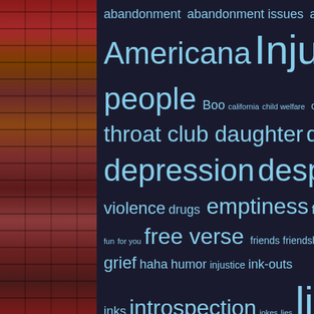[Figure (photo): Brick wall photo on the left side, showing red and brown bricks with mortar joints, partially in shadow]
[Figure (infographic): Tag cloud on dark navy/black background with words in varying sizes representing blog tags: abandonment, abandonment issues, abuse, alone, Americana Injustica, art, artwork, bad people, Boo, california, child welfare, corruption, CPS, cptsd, cuff, cut throat club, daughter, death, depression, despair, DFCS, domestic violence, drugs, emptiness, fake people, family, favorite songs, for fun, for you, free verse, friends, friendships, funny, girls, grief, haha, humor, injustice, ink-outs, inks, introspection, jokes, lies, life, loss, love, memoir, motherhood, notes, observations, original poetry, poem, poems, poetress]
The
Didn
I'm s
And
It's th
Puff,
Like
7 blog
Poste
Tagged
piece
ugly,
1 Com